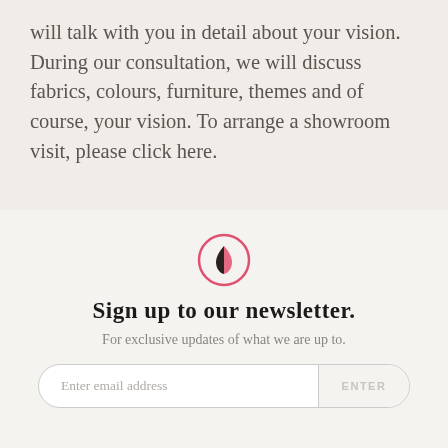will talk with you in detail about your vision. During our consultation, we will discuss fabrics, colours, furniture, themes and of course, your vision. To arrange a showroom visit, please click here.
[Figure (logo): Circular logo with a pink/red outline circle and a dark teardrop/leaf shape inside, half filled]
Sign up to our newsletter.
For exclusive updates of what we are up to.
Enter email address  ENTER